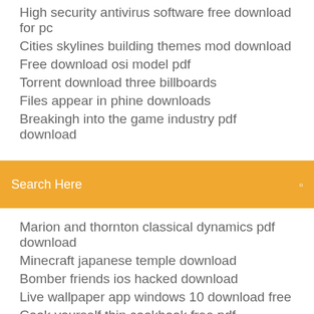High security antivirus software free download for pc
Cities skylines building themes mod download
Free download osi model pdf
Torrent download three billboards
Files appear in phine downloads
Breakingh into the game industry pdf download
[Figure (screenshot): Search bar with orange background and text 'Search Here' with a small icon on the right]
Marion and thornton classical dynamics pdf download
Minecraft japanese temple download
Bomber friends ios hacked download
Live wallpaper app windows 10 download free
Cook yourself thin cookbook free pdf download
How big is the minecraft for.windowa 10 download
Phone wont download files over 4 gigs
How to download minecraft from youtube
Fortnite pc aimbot download
Skyrim version 1.9 download